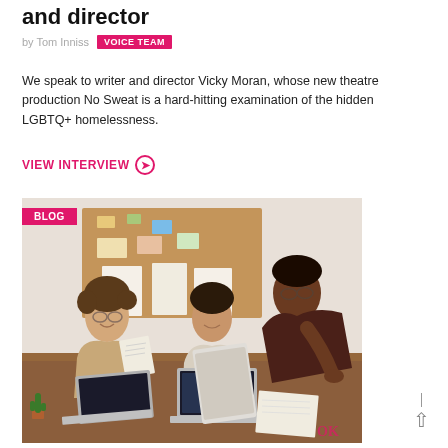and director
by Tom Inniss  VOICE TEAM
We speak to writer and director Vicky Moran, whose new theatre production No Sweat is a hard-hitting examination of the hidden LGBTQ+ homelessness.
VIEW INTERVIEW ➔
[Figure (photo): Three people at a conference table with laptops; one person leaning over, two women seated, with a cork board in the background. BLOG badge overlay in top-left corner.]